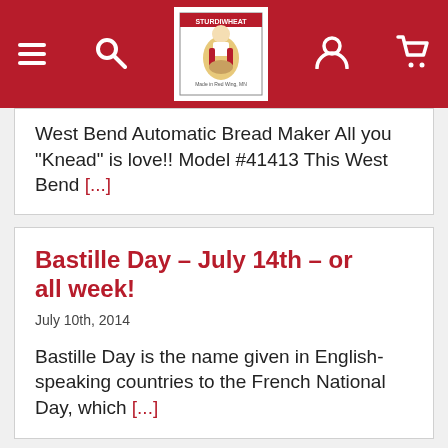Sturdiwheat — site header with navigation icons and logo
West Bend Automatic Bread Maker All you "Knead" is love!! Model #41413 This West Bend [...]
Bastille Day – July 14th – or all week!
July 10th, 2014
Bastille Day is the name given in English-speaking countries to the French National Day, which [...]